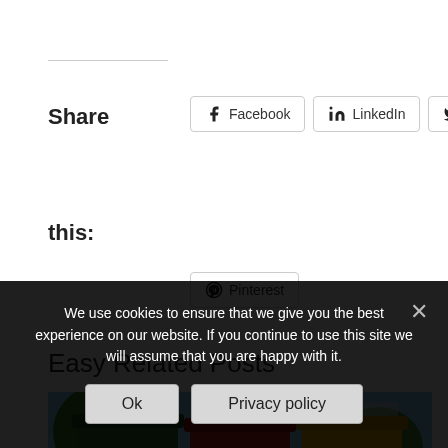Share this:
Facebook LinkedIn Twitter Email
Pinterest
Easy Related Posts
[Figure (photo): Three wheelie bins labeled COMPOST (green), WASTE (red), and RECYCLE (yellow) outdoors]
We use cookies to ensure that we give you the best experience on our website. If you continue to use this site we will assume that you are happy with it.
Ok  Privacy policy